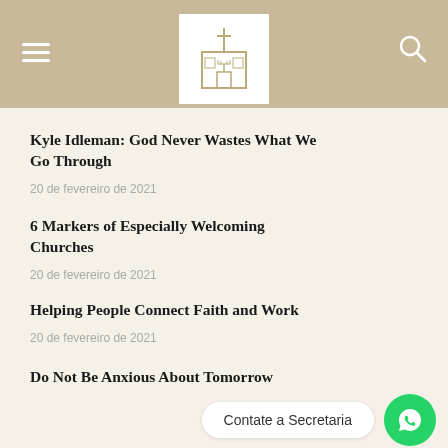Church website header with logo, menu icon, and search icon
Kyle Idleman: God Never Wastes What We Go Through
20 de fevereiro de 2021
6 Markers of Especially Welcoming Churches
20 de fevereiro de 2021
Helping People Connect Faith and Work
20 de fevereiro de 2021
Do Not Be Anxious About Tomorrow
20 de fevere...
Contate a Secretaria